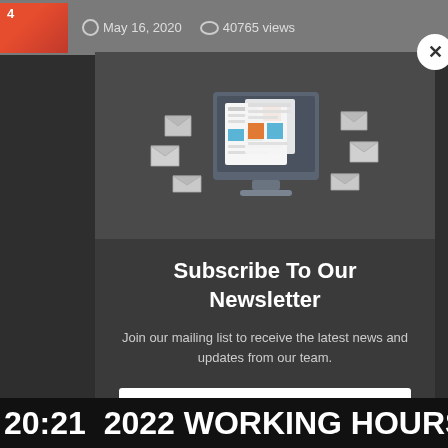[Figure (screenshot): Website screenshot background showing metadata bar with thumbnail, date May 16, 2020 and 40765 views]
[Figure (illustration): Newsletter subscription modal popup with email illustration showing a monitor surrounded by envelopes with a newspaper/newsletter graphic]
Subscribe To Our Newsletter
Join our mailing list to receive the latest news and updates from our team.
Email
20:21  2022 WORKING HOURS FO